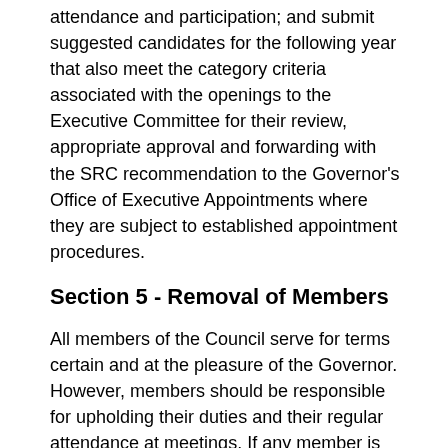attendance and participation; and submit suggested candidates for the following year that also meet the category criteria associated with the openings to the Executive Committee for their review, appropriate approval and forwarding with the SRC recommendation to the Governor's Office of Executive Appointments where they are subject to established appointment procedures.
Section 5 - Removal of Members
All members of the Council serve for terms certain and at the pleasure of the Governor. However, members should be responsible for upholding their duties and their regular attendance at meetings. If any member is not performing his/her duties, it is the responsibility of the Chairperson to contact the member to determine if he/she wishes to continue as a member of the Council.